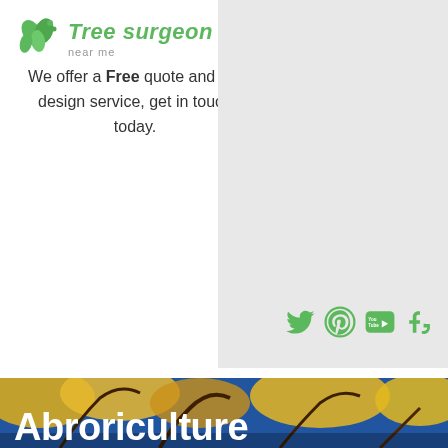[Figure (logo): Tree surgeon near me logo with green leaf icon]
We offer a Free quote and UK design service, get in touch today.
[Figure (screenshot): Grey sidebar panel with social media icons: Twitter, Pinterest, YouTube, Tumblr]
[Figure (photo): Autumn tree canopy with yellow leaves against blue sky, with text 'Abroriculture' overlaid in white]